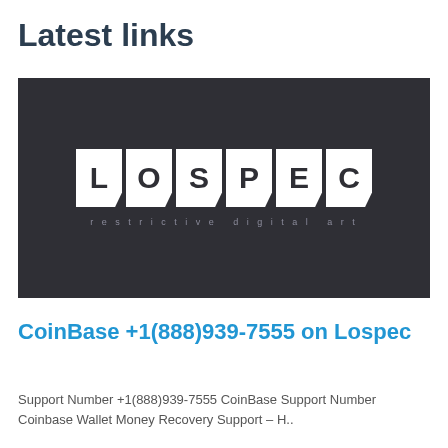Latest links
[Figure (logo): Lospec logo on dark background with text 'restrictive digital art' below]
CoinBase +1(888)939-7555 on Lospec
Support Number +1(888)939-7555 CoinBase Support Number Coinbase Wallet Money Recovery Support – H..